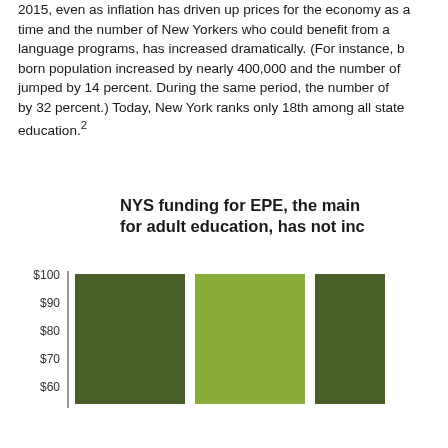2015, even as inflation has driven up prices for the economy as a whole over time and the number of New Yorkers who could benefit from adult literacy and language programs, has increased dramatically. (For instance, NYC's foreign-born population increased by nearly 400,000 and the number of ELLs jumped by 14 percent. During the same period, the number of ABE slots fell by 32 percent.) Today, New York ranks only 18th among all states for adult education.²
[Figure (bar-chart): NYS funding for EPE, the main state funding stream for adult education, has not increased since 2015]